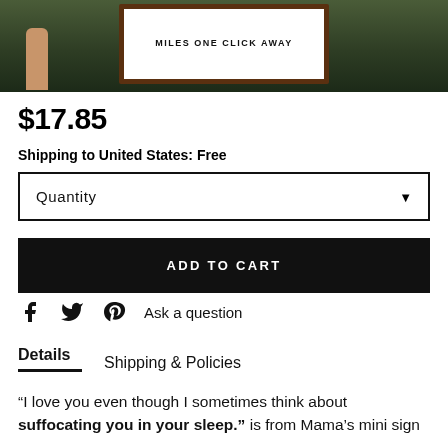[Figure (photo): Person holding a wooden-framed white sign with text, photographed outdoors against green foliage background]
$17.85
Shipping to United States: Free
Quantity
ADD TO CART
Ask a question
Details
Shipping & Policies
“I love you even though I sometimes think about suffocating you in your sleep.” is from Mama’s mini sign